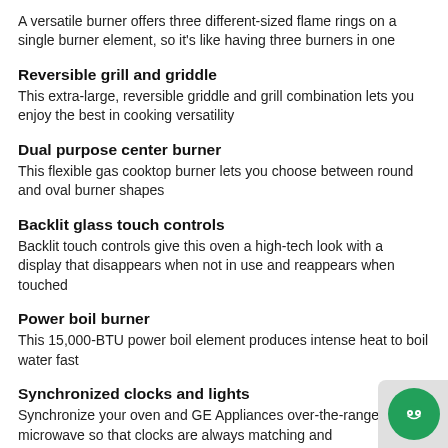A versatile burner offers three different-sized flame rings on a single burner element, so it's like having three burners in one
Reversible grill and griddle
This extra-large, reversible griddle and grill combination lets you enjoy the best in cooking versatility
Dual purpose center burner
This flexible gas cooktop burner lets you choose between round and oval burner shapes
Backlit glass touch controls
Backlit touch controls give this oven a high-tech look with a display that disappears when not in use and reappears when touched
Power boil burner
This 15,000-BTU power boil element produces intense heat to boil water fast
Synchronized clocks and lights
Synchronize your oven and GE Appliances over-the-range microwave so that clocks are always matching and